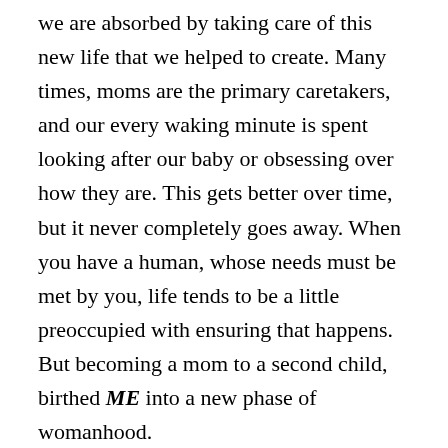we are absorbed by taking care of this new life that we helped to create. Many times, moms are the primary caretakers, and our every waking minute is spent looking after our baby or obsessing over how they are. This gets better over time, but it never completely goes away. When you have a human, whose needs must be met by you, life tends to be a little preoccupied with ensuring that happens. But becoming a mom to a second child, birthed ME into a new phase of womanhood.
I believe that getting lost in motherhood is how you find new, different, sometimes even better versions of yourself. Now, I am not saying that a woman cannot become different or better without becoming a mom,